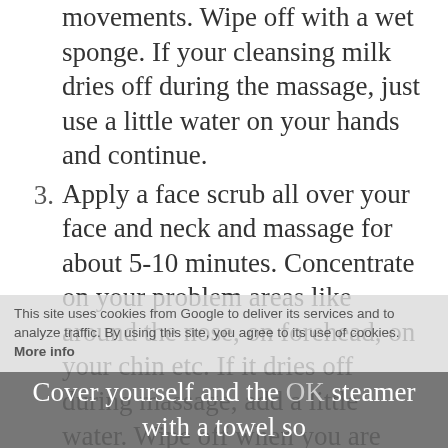movements. Wipe off with a wet sponge. If your cleansing milk dries off during the massage, just use a little water on your hands and continue.
3. Apply a face scrub all over your face and neck and massage for about 5-10 minutes. Concentrate on your problem areas like around the nose, on forehead, on your chin etc. If it dries off during massage, add a little water. Wipe off when you are done.
4. This step is totally optional & I skip this step when I am doing facial at home. Use a steamer to make steam (or you can boil some water in a pan to make steam), now put the steamer on a flat surface, keep your face above the steamer but make sure that there is a distance of about 1-2 feet between the steamer and your face.
Cover yourself and the steamer with a towel so the steam won't go out. Take steam for about 3-5
This site uses cookies from Google to deliver its services and to analyze traffic. By using this site, you agree to its use of cookies. More info